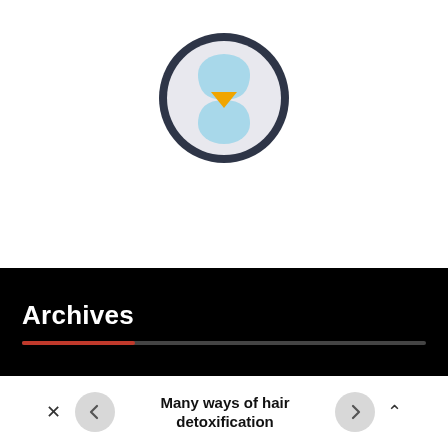[Figure (illustration): Hourglass icon inside a dark circular border. The hourglass has light blue upper and lower bulbs and a gold/yellow downward-pointing triangle in the middle, on a light gray background.]
Archives
Many ways of hair detoxification